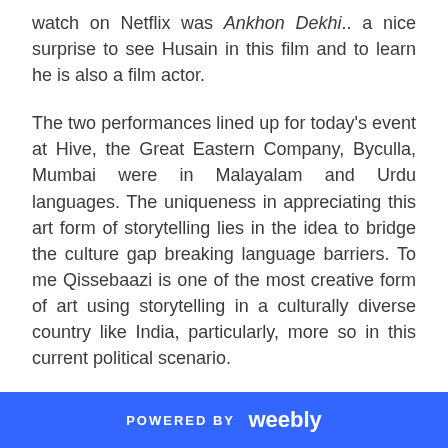watch on Netflix was Ankhon Dekhi.. a nice surprise to see Husain in this film and to learn he is also a film actor.
The two performances lined up for today's event at Hive, the Great Eastern Company, Byculla, Mumbai were in Malayalam and Urdu languages. The uniqueness in appreciating this art form of storytelling lies in the idea to bridge the culture gap breaking language barriers. To me Qissebaazi is one of the most creative form of art using storytelling in a culturally diverse country like India, particularly, more so in this current political scenario.
All my indie documentaries under the Landing Together films are multilingual primarily to have a culture of language inclusivity - showcasing diverse ethnic tribal and indigenous peoples' languages bridge nature
POWERED BY weebly